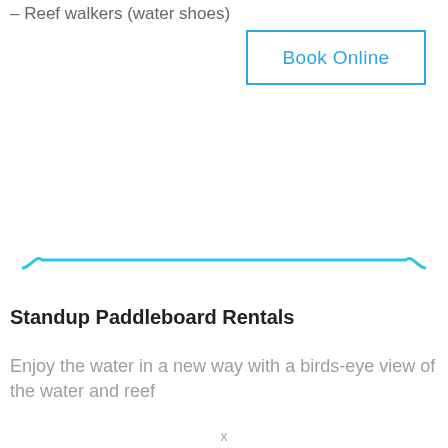– Reef walkers (water shoes)
Book Online
[Figure (other): Decorative horizontal divider with cyan/blue line and curled ends on both sides]
Standup Paddleboard Rentals
Enjoy the water in a new way with a birds-eye view of the water and reef
x